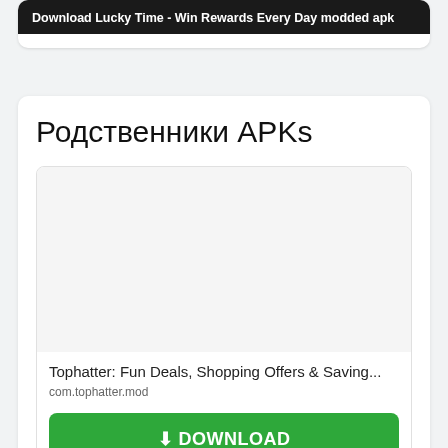[Figure (screenshot): Top banner with dark background showing text 'Download Lucky Time - Win Rewards Every Day modded apk']
Родственники APKs
[Figure (screenshot): App card for Tophatter: Fun Deals, Shopping Offers & Saving... with package name com.tophatter.mod and a green DOWNLOAD button]
Tophatter: Fun Deals, Shopping Offers & Saving...
com.tophatter.mod